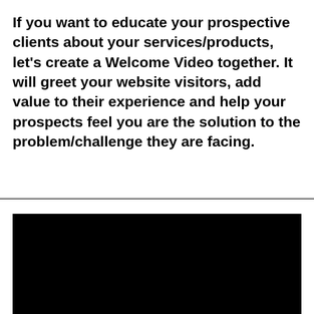If you want to educate your prospective clients about your services/products, let's create a Welcome Video together. It will greet your website visitors, add value to their experience and help your prospects feel you are the solution to the problem/challenge they are facing.
[Figure (other): Black rectangle representing an embedded video player area]